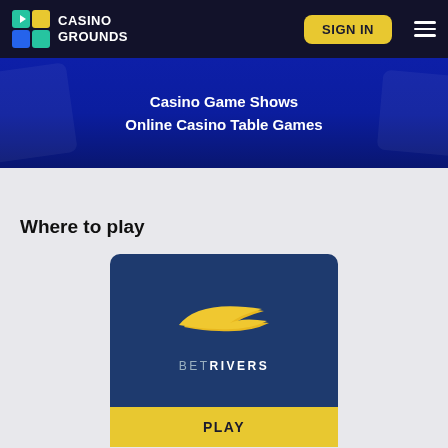CASINO GROUNDS
Casino Game Shows
Online Casino Table Games
Where to play
[Figure (logo): BetRivers casino logo on dark blue background with yellow swoosh graphic]
PLAY